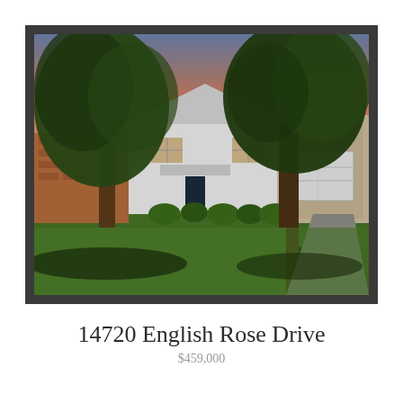[Figure (photo): Exterior photo of a single-story white house with a two-car garage, large trees in the front yard, green lawn, and landscaped flower beds. Brick neighbor house visible on the left. Dusk/evening sky in background.]
14720 English Rose Drive
$459,000